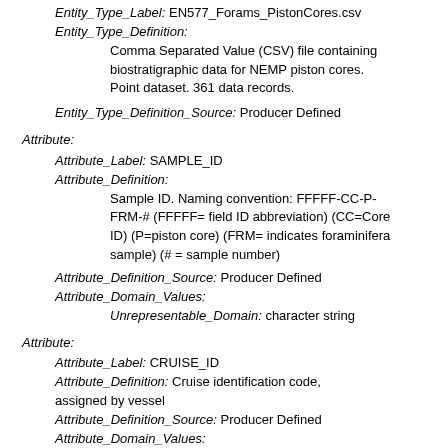Entity_Type_Label: EN577_Forams_PistonCores.csv
Entity_Type_Definition:
  Comma Separated Value (CSV) file containing biostratigraphic data for NEMP piston cores. Point dataset. 361 data records.
Entity_Type_Definition_Source: Producer Defined
Attribute:
Attribute_Label: SAMPLE_ID
Attribute_Definition:
  Sample ID. Naming convention: FFFFF-CC-P-FRM-# (FFFFF= field ID abbreviation) (CC=Core ID) (P=piston core) (FRM= indicates foraminifera sample) (# = sample number)
Attribute_Definition_Source: Producer Defined
Attribute_Domain_Values:
  Unrepresentable_Domain: character string
Attribute:
Attribute_Label: CRUISE_ID
Attribute_Definition: Cruise identification code, assigned by vessel
Attribute_Definition_Source: Producer Defined
Attribute_Domain_Values: